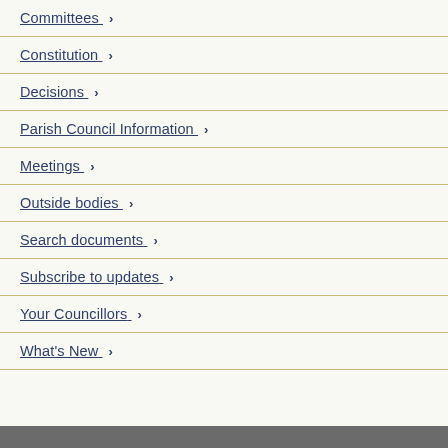Committees >
Constitution >
Decisions >
Parish Council Information >
Meetings >
Outside bodies >
Search documents >
Subscribe to updates >
Your Councillors >
What's New >